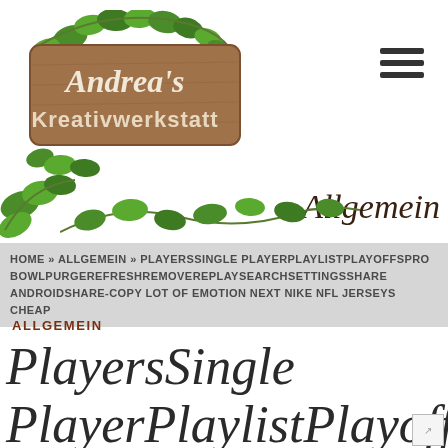[Figure (logo): Andrea's Kreativwerkstatt wooden sign logo with ivy decoration]
[Figure (illustration): Hamburger menu icon (three horizontal lines)]
[Figure (illustration): Ivy/plant decoration on left side]
Allgemein
[Figure (illustration): Ivy/plant decoration in center]
HOME » ALLGEMEIN » PLAYERSSINGLE PLAYERPLAYLISTPLAYOFFSPRO BOWLPURGEREFRESHREMOVEREPLAYSEARCHSETTINGSSHARE ANDROIDSHARE-COPY LOT OF EMOTION NEXT NIKE NFL JERSEYS CHEAP
ALLGEMEIN
PlayersSingle PlayerPlaylistPlayoffsPro BowlPurgeRefreshRemoveR…